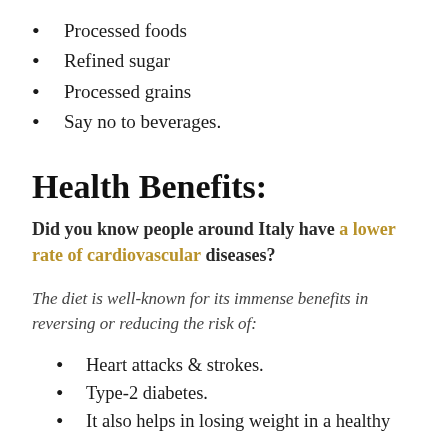Processed foods
Refined sugar
Processed grains
Say no to beverages.
Health Benefits:
Did you know people around Italy have a lower rate of cardiovascular diseases?
The diet is well-known for its immense benefits in reversing or reducing the risk of:
Heart attacks & strokes.
Type-2 diabetes.
It also helps in losing weight in a healthy